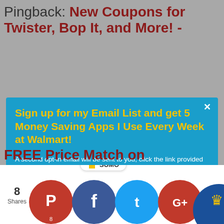Pingback: New Coupons for Twister, Bop It, and More! -
[Figure (screenshot): Email signup modal popup with blue background. Title in yellow: 'Sign up for my Email List and get 5 Money Saving Apps I Use Every Week at Walmart!'. White body text: 'A second opt-in email will be sent to you, click the link provided to get awesome Walmart deals sent to you every day.' Email input field with placeholder 'Enter your Email'. Yellow subscribe button with blue text: 'SUBSCRIBE NOW'. Close X in top right corner.]
FREE Price Match on
[Figure (infographic): SUMO badge and social sharing icons: Pinterest (8 shares), Facebook, Twitter, Google+, and a Sumo icon crown button. Shares count showing 8 Shares on the left.]